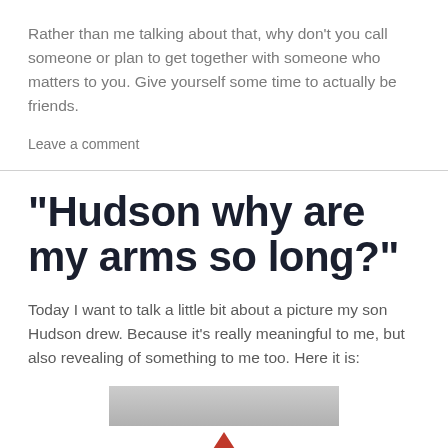Rather than me talking about that, why don't you call someone or plan to get together with someone who matters to you. Give yourself some time to actually be friends.
Leave a comment
“Hudson why are my arms so long?”
Today I want to talk a little bit about a picture my son Hudson drew. Because it’s really meaningful to me, but also revealing of something to me too. Here it is:
[Figure (photo): Bottom portion of an image, partially visible, showing what appears to be a child's drawing with a red arrow or mark visible.]